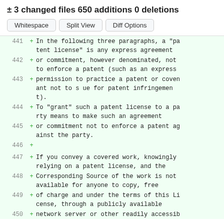± 3 changed files 650 additions 0 deletions
Whitespace | Split View | Diff Options
441 + In the following three paragraphs, a "patent license" is any express agreement
442 + or commitment, however denominated, not to enforce a patent (such as an express
443 + permission to practice a patent or covenant not to s ue for patent infringement).
444 + To "grant" such a patent license to a party means to make such an agreement
445 + or commitment not to enforce a patent against the party.
446 +
447 + If you convey a covered work, knowingly relying on a patent license, and the
448 + Corresponding Source of the work is not available for anyone to copy, free
449 + of charge and under the terms of this License, through a publicly available
450 + network server or other readily accessib